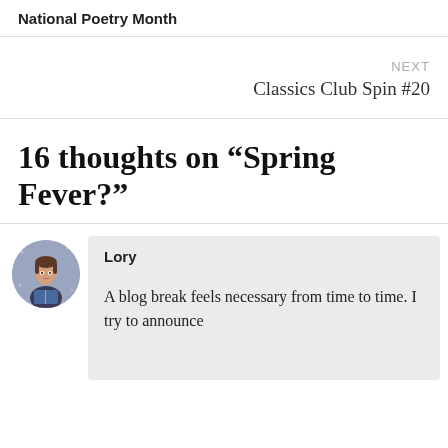National Poetry Month
NEXT
Classics Club Spin #20
16 thoughts on “Spring Fever?”
Lory
A blog break feels necessary from time to time. I try to announce